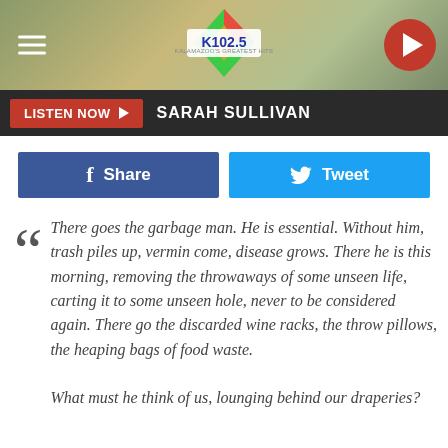[Figure (logo): K102.5 Kalamazoo's Greatest Hits radio station logo with diamond shape in red, green, yellow]
LISTEN NOW ▶  SARAH SULLIVAN
[Figure (infographic): Facebook Share button and Twitter Tweet button]
There goes the garbage man. He is essential. Without him, trash piles up, vermin come, disease grows. There he is this morning, removing the throwaways of some unseen life, carting it to some unseen hole, never to be considered again. There go the discarded wine racks, the throw pillows, the heaping bags of food waste.

What must he think of us, lounging behind our draperies?